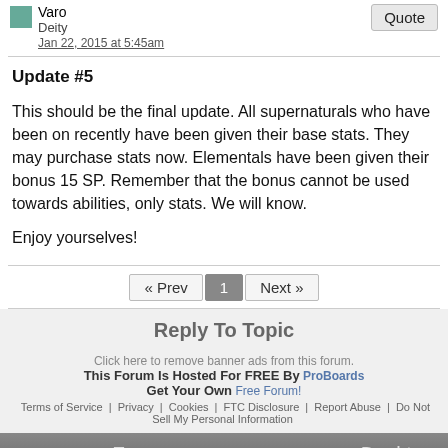Varo | Deity | Jan 22, 2015 at 5:45am | Quote
Update #5
This should be the final update. All supernaturals who have been on recently have been given their base stats. They may purchase stats now. Elementals have been given their bonus 15 SP. Remember that the bonus cannot be used towards abilities, only stats. We will know.

Enjoy yourselves!
« Prev  1  Next »
Reply To Topic
Click here to remove banner ads from this forum.
This Forum Is Hosted For FREE By ProBoards
Get Your Own Free Forum!
Terms of Service | Privacy | Cookies | FTC Disclosure | Report Abuse | Do Not Sell My Personal Information
◄ Back  ▲ Top  Desktop